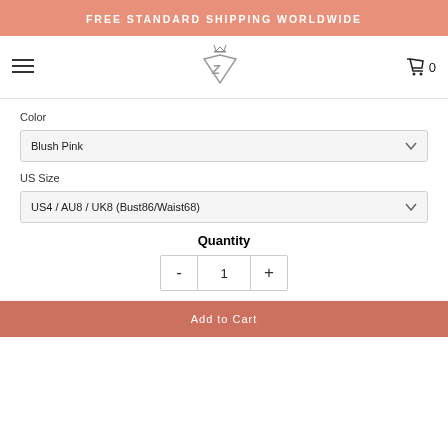FREE STANDARD SHIPPING WORLDWIDE
[Figure (logo): Diamond-shaped logo with letter Z and crown on top]
Color
Blush Pink
US Size
US4 / AU8 / UK8 (Bust86/Waist68)
Quantity
1
Add to Cart